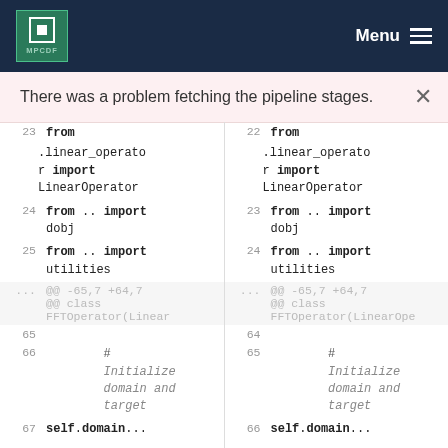MPCDF  Menu
There was a problem fetching the pipeline stages.
[Figure (screenshot): Side-by-side code diff view showing two columns of Python source code with line numbers. Left column lines 23-67, right column lines 22-66. Code includes imports from .linear_operator, from .. import dobj, from .. import utilities, and class FFTOperator(LinearOperator comments.]